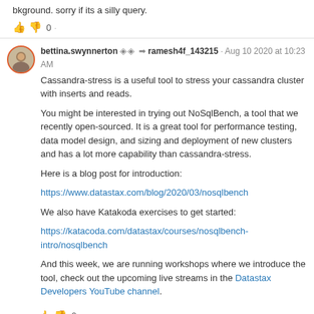bkground. sorry if its a silly query.
👍 👎 0
bettina.swynnerton •• ➤ ramesh4f_143215 · Aug 10 2020 at 10:23 AM
Cassandra-stress is a useful tool to stress your cassandra cluster with inserts and reads.

You might be interested in trying out NoSqlBench, a tool that we recently open-sourced. It is a great tool for performance testing, data model design, and sizing and deployment of new clusters and has a lot more capability than cassandra-stress.

Here is a blog post for introduction:

https://www.datastax.com/blog/2020/03/nosqlbench

We also have Katakoda exercises to get started:

https://katacoda.com/datastax/courses/nosqlbench-intro/nosqlbench

And this week, we are running workshops where we introduce the tool, check out the upcoming live streams in the Datastax Developers YouTube channel.
👍 👎 0
bettina.swynnerton •• ➤ ramesh4f_143215 · Aug 10 2020